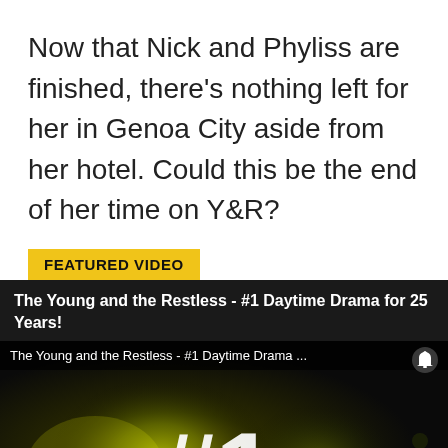Now that Nick and Phyliss are finished, there’s nothing left for her in Genoa City aside from her hotel. Could this be the end of her time on Y&R?
FEATURED VIDEO
The Young and the Restless - #1 Daytime Drama for 25 Years!
[Figure (screenshot): Video thumbnail showing The Young and the Restless #1 Daytime Drama title card with a glowing #1 graphic on a dark/bokeh background, with a notification bar at top and close button at bottom right.]